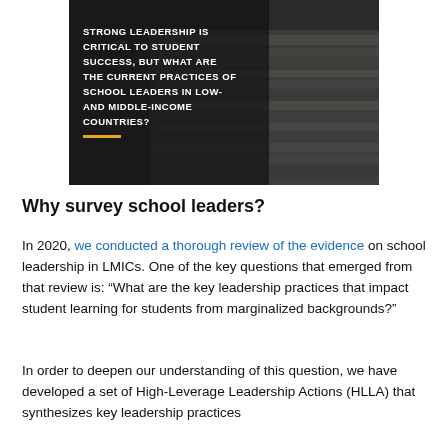[Figure (photo): Dark background photo of stacked papers/folders with overlaid white uppercase text reading 'STRONG LEADERSHIP IS CRITICAL TO STUDENT SUCCESS, BUT WHAT ARE THE CURRENT PRACTICES OF SCHOOL LEADERS IN LOW- AND MIDDLE-INCOME COUNTRIES?' with an orange underline accent below.]
Why survey school leaders?
In 2020, we conducted a thorough review of the evidence on school leadership in LMICs. One of the key questions that emerged from that review is: “What are the key leadership practices that impact student learning for students from marginalized backgrounds?”
In order to deepen our understanding of this question, we have developed a set of High-Leverage Leadership Actions (HLLA) that synthesizes key leadership practices